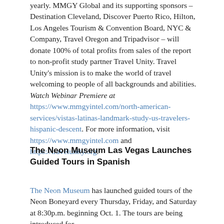yearly. MMGY Global and its supporting sponsors – Destination Cleveland, Discover Puerto Rico, Hilton, Los Angeles Tourism & Convention Board, NYC & Company, Travel Oregon and Tripadvisor – will donate 100% of total profits from sales of the report to non-profit study partner Travel Unity. Travel Unity's mission is to make the world of travel welcoming to people of all backgrounds and abilities. Watch Webinar Premiere at https://www.mmgyintel.com/north-american-services/vistas-latinas-landmark-study-us-travelers-hispanic-descent. For more information, visit https://www.mmgyintel.com and https://travelunity.org.
The Neon Museum Las Vegas Launches Guided Tours in Spanish
The Neon Museum has launched guided tours of the Neon Boneyard every Thursday, Friday, and Saturday at 8:30p.m. beginning Oct. 1. The tours are being introduced for